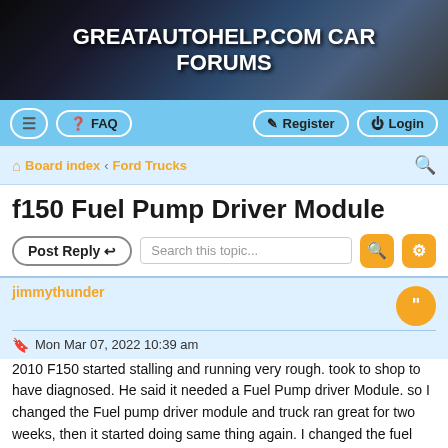GREATAUTOHELP.COM CAR FORUMS
[Figure (screenshot): Navigation bar with menu, FAQ, Register, Login buttons on a light blue background]
Board index · Ford Trucks
f150 Fuel Pump Driver Module
Post Reply | Search this topic...
jimmythunder
Mon Mar 07, 2022 10:39 am
2010 F150 started stalling and running very rough. took to shop to have diagnosed. He said it needed a Fuel Pump driver Module. so I changed the Fuel pump driver module and truck ran great for two weeks, then it started doing same thing again. I changed the fuel pump driver module once again, and it ran great for two weeks,